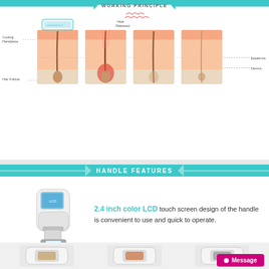WORKING PRINCIPLE
[Figure (infographic): Four-step laser/IPL hair removal working principle diagram showing cross-sections of skin layers (Epidermis, Dermis) with hair follicle, cooling handpiece, and heat released at each stage]
The hair is trimmed and the cooling hand piece is placed on the area to be treated.
In a fraction of a second, pulsed light reacts with the target melanin and heats the hair follicle destroying the papilla responsible for hair growth.
The hair becomes detached from its follicle and sheds in 10-14 days. The hair that grows back is finer, lighter and sparser each time.
After the required number of treatments, the hair follicle is left unable to produce a new hair, with excellent long-term results.
HANDLE FEATURES
[Figure (photo): White IPL/laser hair removal handpiece device with 2.4 inch color LCD touch screen]
2.4 inch color LCD touch screen design of the handle is convenient to use and quick to operate.
[Figure (photo): Three different handle/applicator attachments shown at the bottom of the page]